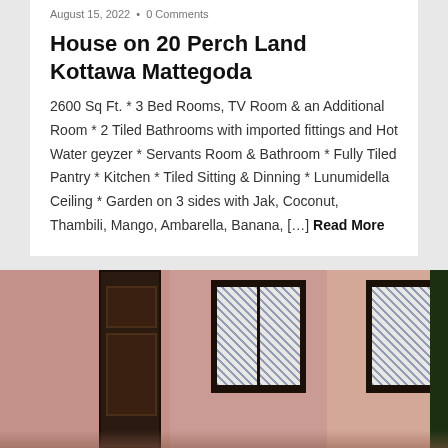August 15, 2022  •  0 Comments
House on 20 Perch Land Kottawa Mattegoda
2600 Sq Ft. * 3 Bed Rooms, TV Room & an Additional Room * 2 Tiled Bathrooms with imported fittings and Hot Water geyzer * Servants Room & Bathroom * Fully Tiled Pantry * Kitchen * Tiled Sitting & Dinning * Lunumidella Ceiling * Garden on 3 sides with Jak, Coconut, Thambili, Mango, Ambarella, Banana, [...] Read More
[Figure (photo): Interior room photo showing pink walls, a dark wooden door on the left, a double-pane window in the center with lattice/mesh pattern, and a partial window on the right side. The room appears to be a bedroom with terracotta-pink painted walls.]